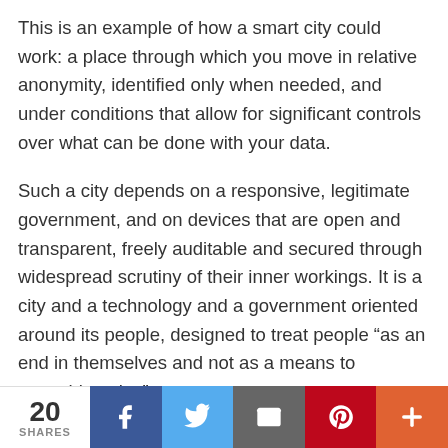This is an example of how a smart city could work: a place through which you move in relative anonymity, identified only when needed, and under conditions that allow for significant controls over what can be done with your data.
Such a city depends on a responsive, legitimate government, and on devices that are open and transparent, freely auditable and secured through widespread scrutiny of their inner workings. It is a city and a technology and a government oriented around its people, designed to treat people “as an end in themselves and not as a means to something else”.
20 SHARES | Facebook | Twitter | Email | Pinterest | More